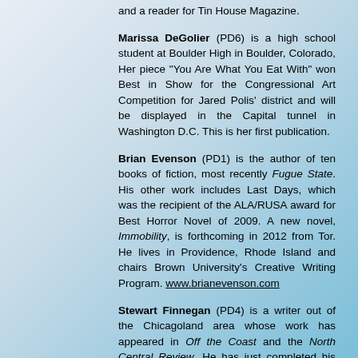and a reader for Tin House Magazine.
Marissa DeGolier (PD6) is a high school student at Boulder High in Boulder, Colorado, Her piece "You Are What You Eat With" won Best in Show for the Congressional Art Competition for Jared Polis' district and will be displayed in the Capital tunnel in Washington D.C. This is her first publication.
Brian Evenson (PD1) is the author of ten books of fiction, most recently Fugue State. His other work includes Last Days, which was the recipient of the ALA/RUSA award for Best Horror Novel of 2009. A new novel, Immobility, is forthcoming in 2012 from Tor. He lives in Providence, Rhode Island and chairs Brown University's Creative Writing Program. www.brianevenson.com
Stewart Finnegan (PD4) is a writer out of the Chicagoland area whose work has appeared in Off the Coast and the North Central Review. He has just completed his first novel and book of poetry. He is a glutton for time.
Eliot Fintushel (PD1) is a writer and performance artist. He began his performance career doing standup comedy at ns of the Rochester